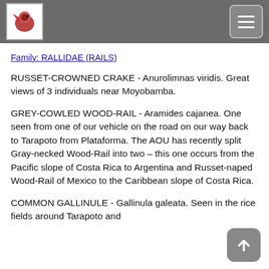Family: RALLIDAE (RAILS)
RUSSET-CROWNED CRAKE - Anurolimnas viridis. Great views of 3 individuals near Moyobamba.
GREY-COWLED WOOD-RAIL - Aramides cajanea. One seen from one of our vehicle on the road on our way back to Tarapoto from Plataforma. The AOU has recently split Gray-necked Wood-Rail into two – this one occurs from the Pacific slope of Costa Rica to Argentina and Russet-naped Wood-Rail of Mexico to the Caribbean slope of Costa Rica.
COMMON GALLINULE - Gallinula galeata. Seen in the rice fields around Tarapoto and